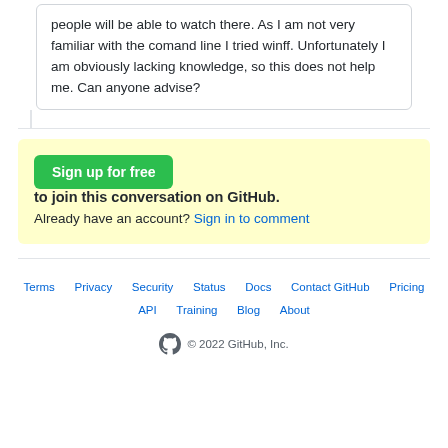people will be able to watch there. As I am not very familiar with the comand line I tried winff. Unfortunately I am obviously lacking knowledge, so this does not help me. Can anyone advise?
Sign up for free to join this conversation on GitHub. Already have an account? Sign in to comment
Terms  Privacy  Security  Status  Docs  Contact GitHub  Pricing  API  Training  Blog  About  © 2022 GitHub, Inc.